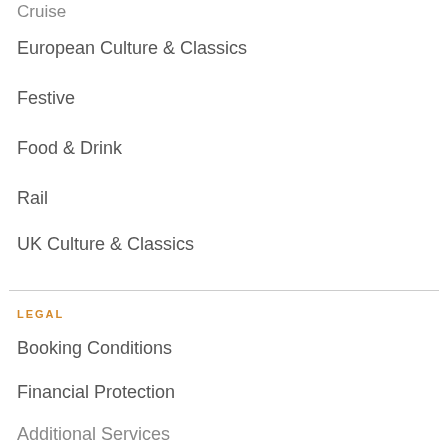Cruise
European Culture & Classics
Festive
Food & Drink
Rail
UK Culture & Classics
LEGAL
Booking Conditions
Financial Protection
Cancellation Protection
Additional Services